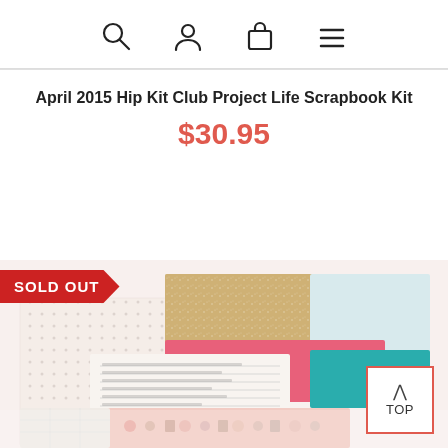navigation icons: search, user, bag, menu
April 2015 Hip Kit Club Project Life Scrapbook Kit
$30.95
SOLD OUT
[Figure (photo): Scrapbook kit contents showing colorful patterned papers, stickers, and embellishments spread out in a fan arrangement]